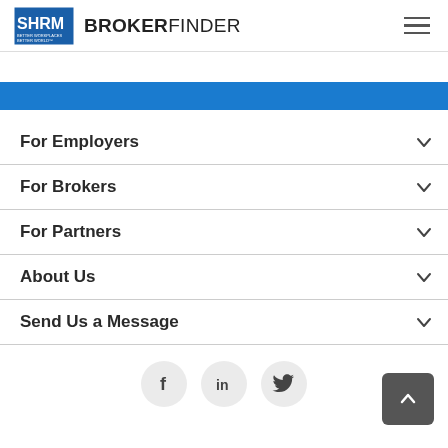SHRM BROKERFINDER
For Employers
For Brokers
For Partners
About Us
Send Us a Message
[Figure (other): Social media icons: Facebook, LinkedIn, Twitter circles, and a back-to-top button]